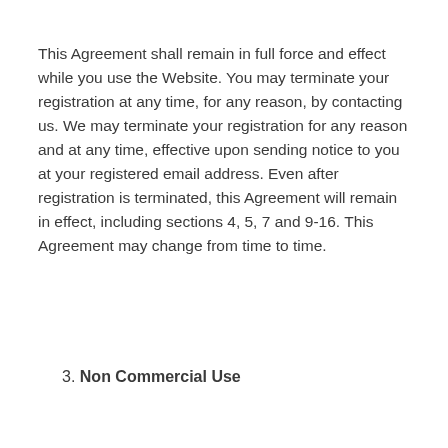This Agreement shall remain in full force and effect while you use the Website. You may terminate your registration at any time, for any reason, by contacting us. We may terminate your registration for any reason and at any time, effective upon sending notice to you at your registered email address. Even after registration is terminated, this Agreement will remain in effect, including sections 4, 5, 7 and 9-16. This Agreement may change from time to time.
3. Non Commercial Use